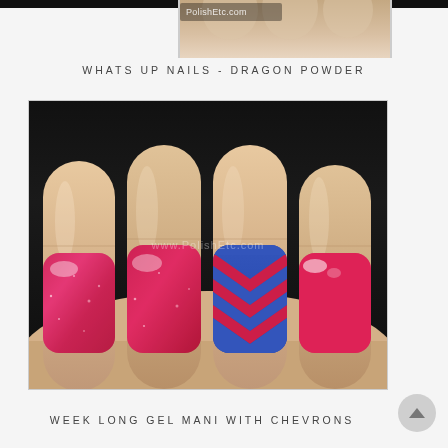[Figure (photo): Top cropped portion of a nail photo showing fingers with red glittery nail polish, with PolishEtc.com watermark in upper left]
WHATS UP NAILS - DRAGON POWDER
[Figure (photo): Close-up photo of four fingers showing red holographic glitter nail polish on three nails and a blue and red chevron accent nail design on the ring finger. Watermark www.PolishEtc.com visible in center of photo.]
WEEK LONG GEL MANI WITH CHEVRONS